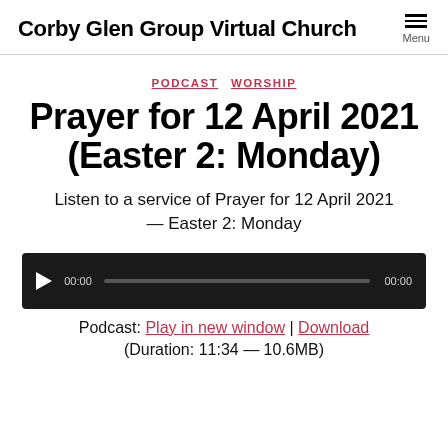Corby Glen Group Virtual Church | Menu
PODCAST  WORSHIP
Prayer for 12 April 2021 (Easter 2: Monday)
Listen to a service of Prayer for 12 April 2021 — Easter 2: Monday
[Figure (other): Audio player with play button, progress bar, and time display showing 00:00 / 00:00]
Podcast: Play in new window | Download (Duration: 11:34 — 10.6MB)